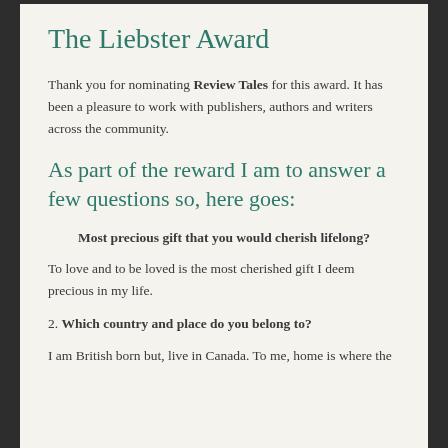The Liebster Award
Thank you for nominating Review Tales for this award. It has been a pleasure to work with publishers, authors and writers across the community.
As part of the reward I am to answer a few questions so, here goes:
1. Most precious gift that you would cherish lifelong?
To love and to be loved is the most cherished gift I deem precious in my life.
2. Which country and place do you belong to?
I am British born but, live in Canada. To me, home is where the